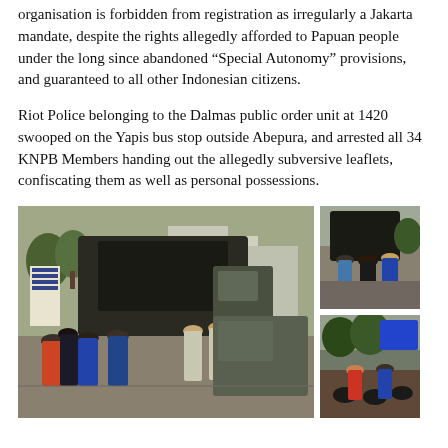organisation is forbidden from registration as irregularly a Jakarta mandate, despite the rights allegedly afforded to Papuan people under the long since abandoned “Special Autonomy” provisions, and guaranteed to all other Indonesian citizens.
Riot Police belonging to the Dalmas public order unit at 1420 swooped on the Yapis bus stop outside Abepura, and arrested all 34 KNPB Members handing out the allegedly subversive leaflets, confiscating them as well as personal possessions.
[Figure (photo): Three photographs showing a crowd scene at a bus stop with police and military vehicles present, likely depicting the arrest of KNPB members at Yapis bus stop outside Abepura. The main large photo shows a crowd of people and uniformed officers near a large truck. Two smaller photos on the right show additional views of the scene.]